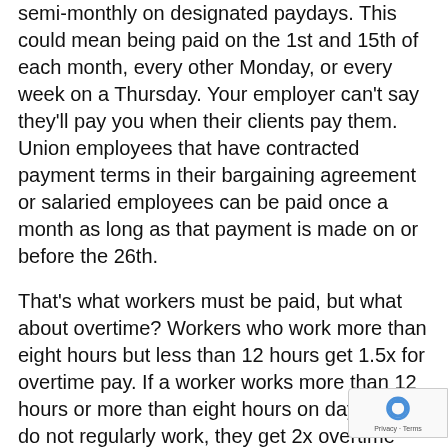semi-monthly on designated paydays. This could mean being paid on the 1st and 15th of each month, every other Monday, or every week on a Thursday. Your employer can't say they'll pay you when their clients pay them. Union employees that have contracted payment terms in their bargaining agreement or salaried employees can be paid once a month as long as that payment is made on or before the 26th.
That's what workers must be paid, but what about overtime? Workers who work more than eight hours but less than 12 hours get 1.5x for overtime pay. If a worker works more than 12 hours or more than eight hours on days they do not regularly work, they get 2x overtime pay. For workers who have alternative schedules, overtime may not be required until they've worked more than 10 hours in a shift.
One recent change to overtime laws impacts agricultural workers. If an agricultural worker works for a